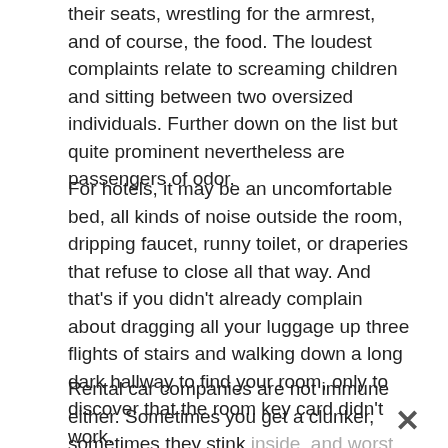their seats, wrestling for the armrest, and of course, the food. The loudest complaints relate to screaming children and sitting between two oversized individuals. Further down on the list but quite prominent nevertheless are passengers of odor.
For hotels, it may be an uncomfortable bed, all kinds of noise outside the room, dripping faucet, runny toilet, or draperies that refuse to close all that way. And that's if you didn't already complain about dragging all your luggage up three flights of stairs and walking down a long dark hallway to find your room, only to discover that the room key card didn't work.
Rental car companies are not immune either. Sometimes you get a clunker, sometimes they stink inside, and worst of all, you get a notice for an outrageous repair bill when you know you returned the